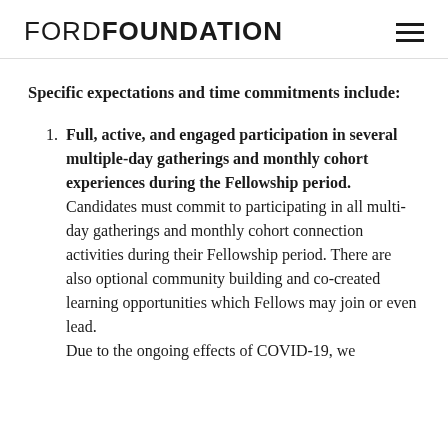FORD FOUNDATION
Specific expectations and time commitments include:
Full, active, and engaged participation in several multiple-day gatherings and monthly cohort experiences during the Fellowship period. Candidates must commit to participating in all multi-day gatherings and monthly cohort connection activities during their Fellowship period. There are also optional community building and co-created learning opportunities which Fellows may join or even lead. Due to the ongoing effects of COVID-19, we